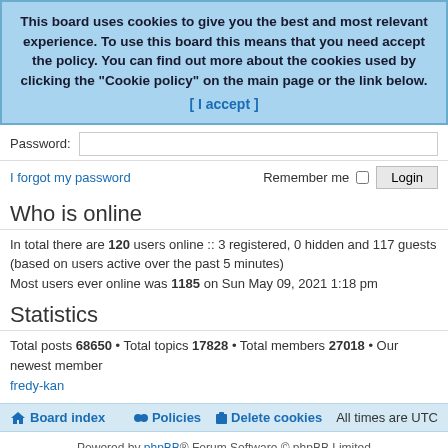This board uses cookies to give you the best and most relevant experience. To use this board this means that you need accept the policy. You can find out more about the cookies used by clicking the "Cookie policy" on the main page or the link below. [ I accept ]
Password:
I forgot my password   Remember me  Login
Who is online
In total there are 120 users online :: 3 registered, 0 hidden and 117 guests (based on users active over the past 5 minutes)
Most users ever online was 1185 on Sun May 09, 2021 1:18 pm
Statistics
Total posts 68650 • Total topics 17828 • Total members 27018 • Our newest member fredy-kan
Board index  Policies  Delete cookies  All times are UTC
Powered by phpBB® Forum Software © phpBB Limited
Style by Arty - Update phpBB 3.2 by MrGaby
Privacy | Terms